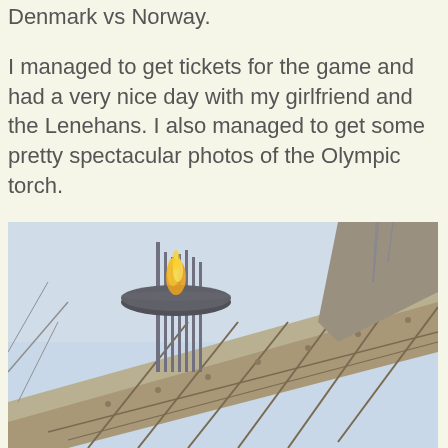Denmark vs Norway.
I managed to get tickets for the game and had a very nice day with my girlfriend and the Lenehans. I also managed to get some pretty spectacular photos of the Olympic torch.
[Figure (photo): Photo of the Olympic torch cauldron atop a tall steel structure/stadium tower, with a yellow flame burning, against a pale blue sky. The large disc-shaped cauldron is mounted on multiple vertical poles, and a large concrete and steel stadium roof truss is visible behind it.]